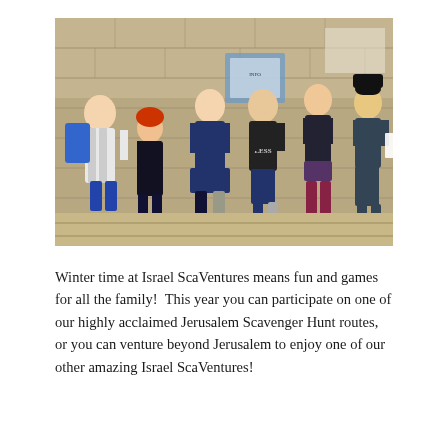[Figure (photo): Group of children and young people jumping in the air in front of a stone wall, appearing to be in Jerusalem. The children are smiling and mid-jump, captured outdoors.]
Winter time at Israel ScaVentures means fun and games for all the family!  This year you can participate on one of our highly acclaimed Jerusalem Scavenger Hunt routes, or you can venture beyond Jerusalem to enjoy one of our other amazing Israel ScaVentures!